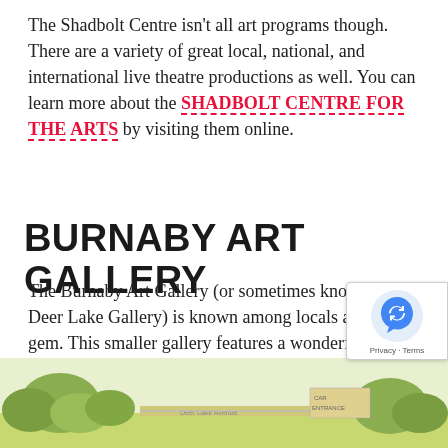The Shadbolt Centre isn't all art programs though. There are a variety of great local, national, and international live theatre productions as well. You can learn more about the SHADBOLT CENTRE FOR THE ARTS by visiting them online.
BURNABY ART GALLERY
The Burnaby Art Gallery (or sometimes known as the Deer Lake Gallery) is known among locals as a hidden gem. This smaller gallery features a wonderful variety of local and international, contemporary and historical art exhibits open to the community. Find out more by visiting the BURNABY ART GALLERY
[Figure (illustration): A illustrated map/aerial view of Deer Lake area showing Deer Lake Avenue and surrounding grounds with trees and pathways.]